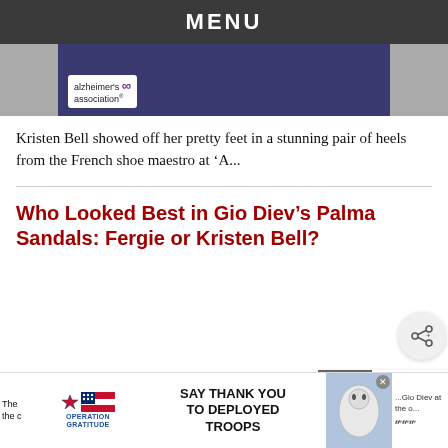MENU
[Figure (photo): A woman in a blue dress at an Alzheimer's Association event. The Alzheimer's Association logo is visible on a banner behind her.]
Kristen Bell showed off her pretty feet in a stunning pair of heels from the French shoe maestro at ‘A...
Who Looked Best in Gio Diev’s Palma Sandals: Fergie or Kristen Bell?
[Figure (screenshot): Share button icon (circular button with share symbol)]
[Figure (photo): Sidebar widget showing a celebrity photo with text 'WHAT'S HOT' and '41 Be... Celeb...']
[Figure (infographic): Advertisement banner: Operation Gratitude - SAY THANK YOU TO DEPLOYED TROOPS. Features patriotic imagery and a cartoon character on the right side.]